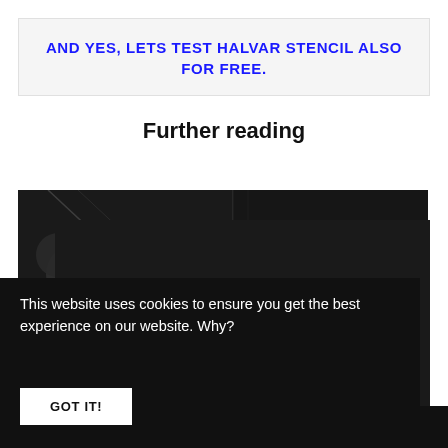AND YES, LETS TEST HALVAR STENCIL ALSO FOR FREE.
Further reading
[Figure (photo): Dark background image with abstract circular shapes and diagonal lines, dark tones]
This website uses cookies to ensure you get the best experience on our website. Why?
GOT IT!
Cut, select, delete, repeat!